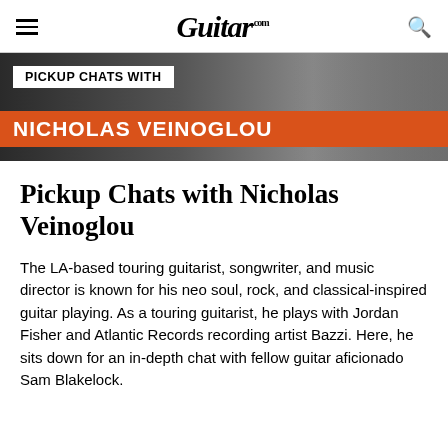Guitar.com
[Figure (other): Promotional banner image with dark background showing guitar and text 'PICKUP CHATS WITH NICHOLAS VEINOGLOU' on orange strip]
Pickup Chats with Nicholas Veinoglou
The LA-based touring guitarist, songwriter, and music director is known for his neo soul, rock, and classical-inspired guitar playing. As a touring guitarist, he plays with Jordan Fisher and Atlantic Records recording artist Bazzi. Here, he sits down for an in-depth chat with fellow guitar aficionado Sam Blakelock.